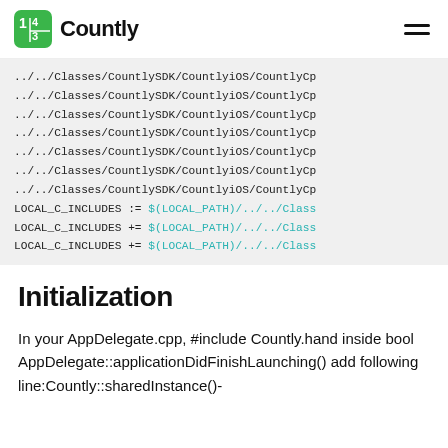Countly
../../Classes/CountlySDK/CountlyiOS/CountlyCp
../../Classes/CountlySDK/CountlyiOS/CountlyCp
../../Classes/CountlySDK/CountlyiOS/CountlyCp
../../Classes/CountlySDK/CountlyiOS/CountlyCp
../../Classes/CountlySDK/CountlyiOS/CountlyCp
../../Classes/CountlySDK/CountlyiOS/CountlyCp
../../Classes/CountlySDK/CountlyiOS/CountlyCp
LOCAL_C_INCLUDES := $(LOCAL_PATH)/../../Class
LOCAL_C_INCLUDES += $(LOCAL_PATH)/../../Class
LOCAL_C_INCLUDES += $(LOCAL_PATH)/../../Class
Initialization
In your AppDelegate.cpp, #include Countly.hand inside bool AppDelegate::applicationDidFinishLaunching() add following line:Countly::sharedInstance()-